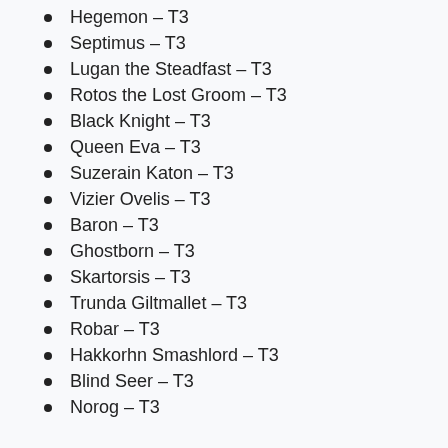Hegemon – T3
Septimus – T3
Lugan the Steadfast – T3
Rotos the Lost Groom – T3
Black Knight – T3
Queen Eva – T3
Suzerain Katon – T3
Vizier Ovelis – T3
Baron – T3
Ghostborn – T3
Skartorsis – T3
Trunda Giltmallet – T3
Robar – T3
Hakkorhn Smashlord – T3
Blind Seer – T3
Norog – T3